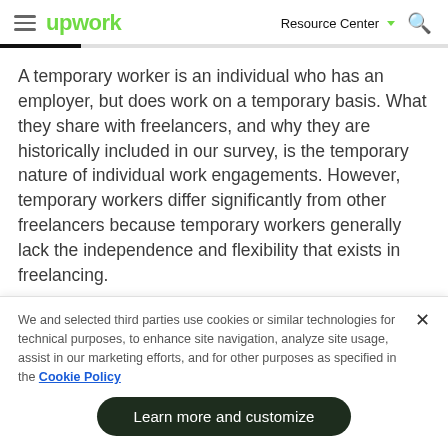Upwork — Resource Center
A temporary worker is an individual who has an employer, but does work on a temporary basis. What they share with freelancers, and why they are historically included in our survey, is the temporary nature of individual work engagements. However, temporary workers differ significantly from other freelancers because temporary workers generally lack the independence and flexibility that exists in freelancing.
We and selected third parties use cookies or similar technologies for technical purposes, to enhance site navigation, analyze site usage, assist in our marketing efforts, and for other purposes as specified in the Cookie Policy
Learn more and customize